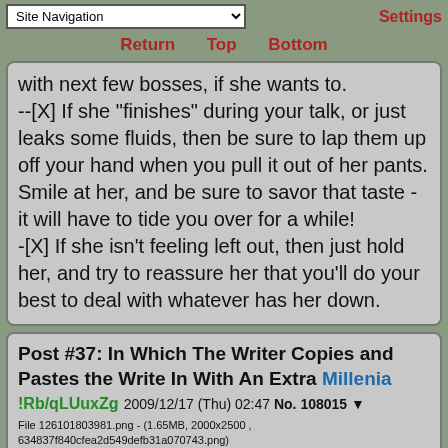Site Navigation | Settings | Return | Top | Bottom
with next few bosses, if she wants to.
--[X] If she "finishes" during your talk, or just leaks some fluids, then be sure to lap them up off your hand when you pull it out of her pants. Smile at her, and be sure to savor that taste - it will have to tide you over for a while!
-[X] If she isn't feeling left out, then just hold her, and try to reassure her that you'll do your best to deal with whatever has her down.
Post #37: In Which The Writer Copies and Pastes the Write In With An Extra Millenia !Rb/qLUuxZg 2009/12/17 (Thu) 02:47 No. 108015
File 126101803981.png - (1.65MB, 2000x2500 , 634837f840cfea2d549defb31a070743.png)
[Figure (illustration): Anime-style character with green hair and headphones]
>>108000

Feel free to vote to visit her next time